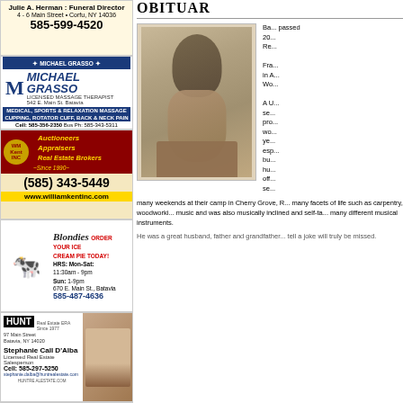[Figure (other): Advertisement: Julie A. Herman Funeral Director, 4-6 Main Street, Corfu NY 14036, phone 585-599-4520]
[Figure (other): Advertisement: Michael Grasso Licensed Massage Therapist, 542 E. Main St. Batavia, Medical Sports & Relaxation Massage, Cupping Rotator Cuff Back & Neck Pain, Cell 585-356-2350 Bus Ph 585-343-5311]
[Figure (other): Advertisement: WM Kent Inc, Auctioneers Appraisers Real Estate Brokers Since 1990, (585) 343-5449, www.williamkentinc.com]
[Figure (other): Advertisement: Blondies, Order Your Ice Cream Pie Today!, HRS Mon-Sat 11:30am-9pm Sun 1-9pm, 670 E. Main St Batavia, 585-487-4636]
[Figure (other): Advertisement: HUNT Real Estate ERA, 97 Main Street Batavia NY 14020, Stephanie Call D'Alba Licensed Real Estate Salesperson, Cell 585-297-5250, stephanie.dalba@huntrealestate.com]
[Figure (other): Advertisement: Fox Bowl (partially visible, green logo)]
OBITUARY
[Figure (photo): Black and white portrait photo of a young man in a collared shirt]
Ba... passed 20... Re... Fra... in A... Wo... A U... se... pro... wo... ye... esp... bu... hu... off... se...
many weekends at their camp in Cherry Grove, R... many facets of life such as carpentry, woodworki... music and was also musically inclined and self-ta... many different musical instruments.
He was a great husband, father and grandfather... tell a joke will truly be missed.